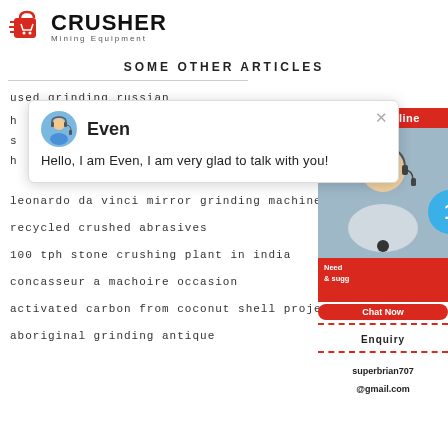[Figure (logo): Crusher Mining Equipment logo with red shopping bag icon and bold black CRUSHER text]
SOME OTHER ARTICLES
used grinding russian
h
s
h
leonardo da vinci mirror grinding machine
recycled crushed abrasives
100 tph stone crushing plant in india
concasseur a machoire occasion
activated carbon from coconut shell project re
aboriginal grinding antique
[Figure (screenshot): Chat popup with avatar of Even and message: Hello, I am Even, I am very glad to talk with you!]
[Figure (infographic): Red sidebar with 24Hrs Online badge, customer service representative image, notification circle with number 1, Chat Now button, Enquiry section, and superbrian707@gmail.com email]